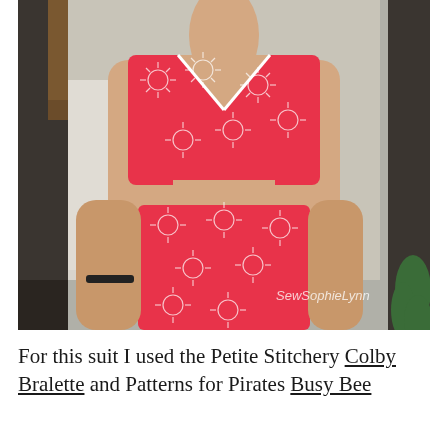[Figure (photo): A person wearing a two-piece red and white floral swimsuit (crop top bralette and high-waisted bottoms). The swimsuit has a bold daisy/flower print in white on red fabric. A watermark reading 'SewSophieLynn' is visible in the lower right of the image.]
For this suit I used the Petite Stitchery Colby Bralette and Patterns for Pirates Busy Bee